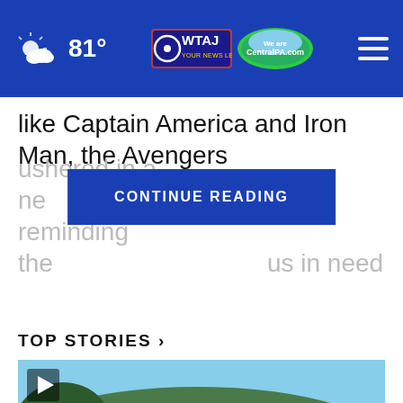81° OWTAJ CentralPA.com
like Captain America and Iron Man, the Avengers
ushered in a ne...all ages, reminding the...ous in need
CONTINUE READING
TOP STORIES ›
[Figure (photo): News photo showing a street scene with emergency responders and police officers gathered on a road, with utility poles, parked vehicles, a tree-covered hillside in the background, and residential buildings visible. A play button icon is in the top-left corner.]